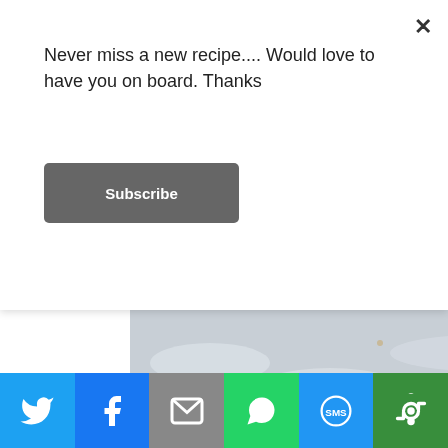Never miss a new recipe.... Would love to have you on board. Thanks
Subscribe
[Figure (photo): Close-up photo of a floured surface, possibly a baking surface with dough crumbs and flour scattered on it, light blue-grey tones.]
Baking this strawberry rhubarb lattice pie was so therapeutic and playing with two of my favourite produce of Spring was simply irresistible. If you have baked with rhubarb earlier, you know what I mean. The colour and
[Figure (infographic): Social sharing bar with Twitter, Facebook, Email, WhatsApp, SMS, and More buttons.]